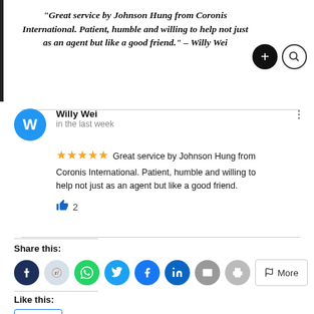“Great service by Johnson Hung from Coronis International. Patient, humble and willing to help not just as an agent but like a good friend.” – Willy Wei
Willy Wei
in the last week
★★★★★ Great service by Johnson Hung from Coronis International. Patient, humble and willing to help not just as an agent but like a good friend.
👍 2
Share this:
Like this: